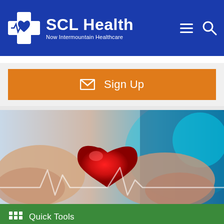[Figure (logo): SCL Health logo — white cross with heart symbol and text 'SCL Health' with subtitle 'Now Intermountain Healthcare' on blue background, with hamburger menu and search icons]
[Figure (other): Orange Sign Up button with envelope icon]
[Figure (photo): Hero image of hands holding a red heart shape with ECG waveform overlay on blue/teal background]
Quick Tools
Minimally Invasive Heart